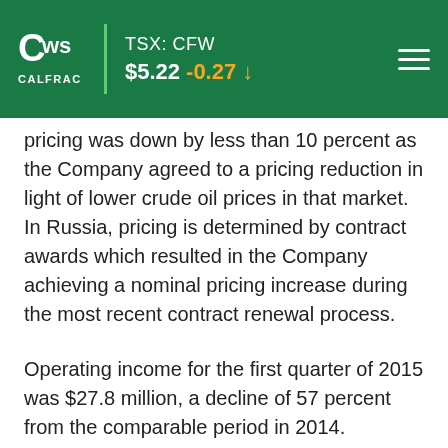TSX: CFW $5.22 -0.27
pricing was down by less than 10 percent as the Company agreed to a pricing reduction in light of lower crude oil prices in that market. In Russia, pricing is determined by contract awards which resulted in the Company achieving a nominal pricing increase during the most recent contract renewal process.
Operating income for the first quarter of 2015 was $27.8 million, a decline of 57 percent from the comparable period in 2014. Operating income as a percentage of revenue was lower by 710 basis points compared to the same period last year due to significantly lower pricing in the United States and Canada, and to a lesser extent, Argentina, combined with lower utilization in Canada.